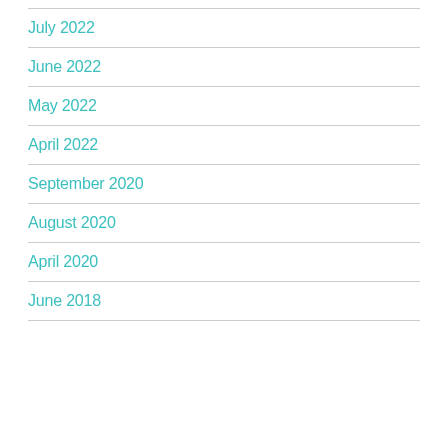July 2022
June 2022
May 2022
April 2022
September 2020
August 2020
April 2020
June 2018